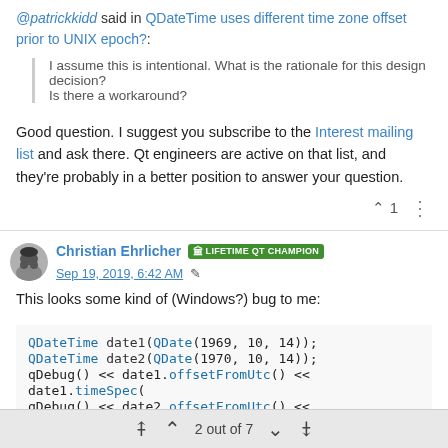@patrickkidd said in QDateTime uses different time zone offset prior to UNIX epoch?:
I assume this is intentional. What is the rationale for this design decision? Is there a workaround?
Good question. I suggest you subscribe to the Interest mailing list and ask there. Qt engineers are active on that list, and they're probably in a better position to answer your question.
Christian Ehrlicher  LIFETIME QT CHAMPION  Sep 19, 2019, 6:42 AM
This looks some kind of (Windows?) bug to me:
QDateTime date1(QDate(1969, 10, 14));
QDateTime date2(QDate(1970, 10, 14));
qDebug() << date1.offsetFromUtc() << date1.timeSpec(
qDebug() << date2.offsetFromUtc() << date2.timeSpec(
2 out of 7